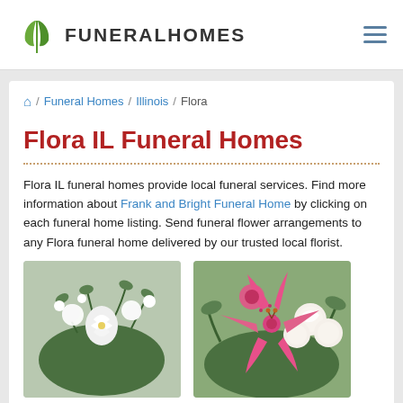FuneralHomes
Funeral Homes / Illinois / Flora
Flora IL Funeral Homes
Flora IL funeral homes provide local funeral services. Find more information about Frank and Bright Funeral Home by clicking on each funeral home listing. Send funeral flower arrangements to any Flora funeral home delivered by our trusted local florist.
[Figure (photo): White flower arrangement with lilies and greenery]
[Figure (photo): Pink lilies and white roses bouquet]